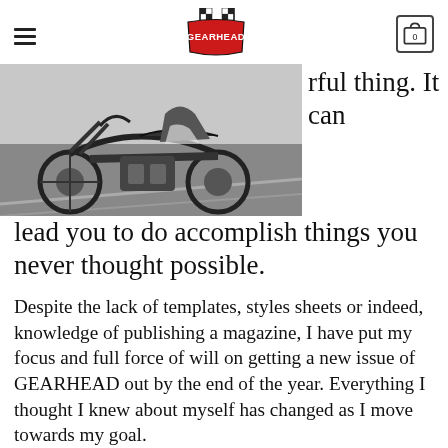GEARHEAD (logo, hamburger menu, cart with 0)
[Figure (photo): Black and white photograph of a classic motorcycle on a road, parked/leaning, taken from a low angle showing the front wheel and engine prominently.]
rful thing. It can lead you to do accomplish things you never thought possible.
Despite the lack of templates, styles sheets or indeed, knowledge of publishing a magazine, I have put my focus and full force of will on getting a new issue of GEARHEAD out by the end of the year. Everything I thought I knew about myself has changed as I move towards my goal.